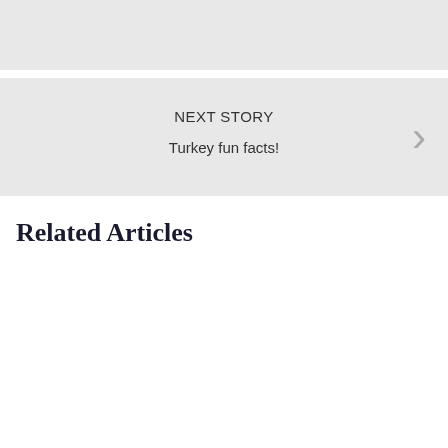[Figure (other): Gray placeholder bar at the top of the page]
NEXT STORY
Turkey fun facts!
Related Articles